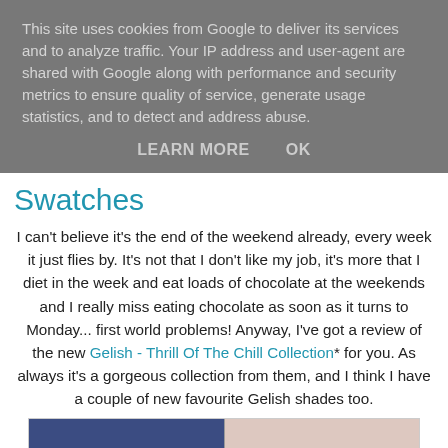This site uses cookies from Google to deliver its services and to analyze traffic. Your IP address and user-agent are shared with Google along with performance and security metrics to ensure quality of service, generate usage statistics, and to detect and address abuse.
LEARN MORE    OK
Swatches
I can't believe it's the end of the weekend already, every week it just flies by. It's not that I don't like my job, it's more that I diet in the week and eat loads of chocolate at the weekends and I really miss eating chocolate as soon as it turns to Monday... first world problems! Anyway, I've got a review of the new Gelish - Thrill Of The Chill Collection* for you. As always it's a gorgeous collection from them, and I think I have a couple of new favourite Gelish shades too.
[Figure (photo): Two side-by-side nail swatch photos: left shows dark navy/blue nails, right shows light pink/nude nails]